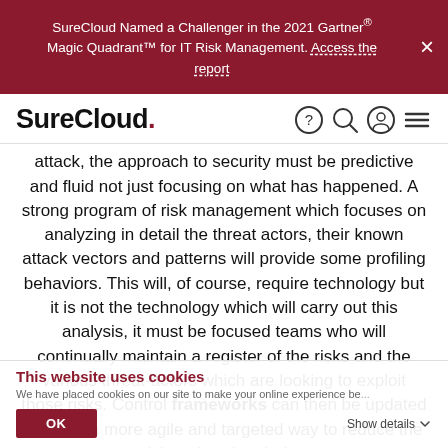SureCloud Named a Challenger in the 2021 Gartner® Magic Quadrant™ for IT Risk Management. Access the report
SureCloud. [navigation icons]
attack, the approach to security must be predictive and fluid not just focusing on what has happened. A strong program of risk management which focuses on analyzing in detail the threat actors, their known attack vectors and patterns will provide some profiling behaviors. This will, of course, require technology but it is not the technology which will carry out this analysis, it must be focused teams who will continually maintain a register of the risks and the various threat-actors which are looking to exploit those risks. Control frameworks can then be updated in a much more agile and targeted way to reduce the risk, rather than being
This website uses cookies
We have placed cookies on our site to make your online experience be...
OK  Show details